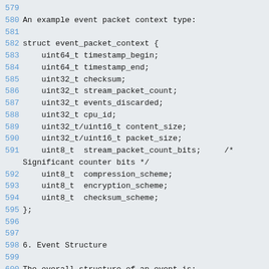579
580 An example event packet context type:
581
582 struct event_packet_context {
583   uint64_t timestamp_begin;
584   uint64_t timestamp_end;
585   uint32_t checksum;
586   uint32_t stream_packet_count;
587   uint32_t events_discarded;
588   uint32_t cpu_id;
589   uint32_t/uint16_t content_size;
590   uint32_t/uint16_t packet_size;
591   uint8_t  stream_packet_count_bits;     /* Significant counter bits */
592   uint8_t  compression_scheme;
593   uint8_t  encryption_scheme;
594   uint8_t  checksum_scheme;
595 };
596
597
598 6. Event Structure
599
600 The overall structure of an event is:
601
602 1. - Stream Packet Context (as specified by the